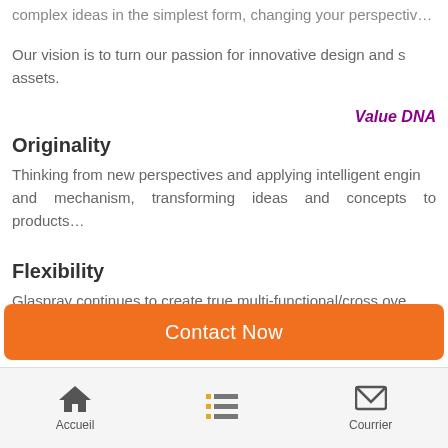complex ideas in the simplest form, changing your perspectives…
Our vision is to turn our passion for innovative design and s… assets.
Value DNA
Originality
Thinking from new perspectives and applying intelligent engin… and mechanism, transforming ideas and concepts to products…
Flexibility
Glaspray continues to create true multi-functional/cross ove… trends by adapting alternative functions and applications in o…
Contact Now | Accueil | Courrier